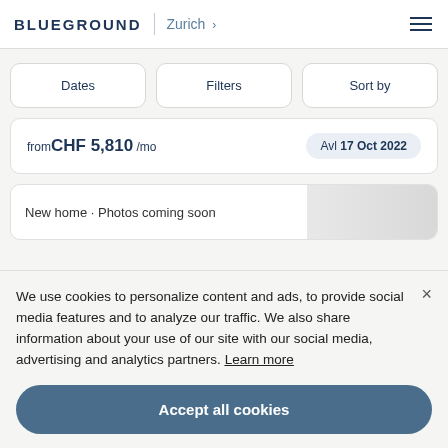BLUEGROUND | Zurich >
Dates
Filters
Sort by
from CHF 5,810 /mo  Avl 17 Oct 2022
New home · Photos coming soon
We use cookies to personalize content and ads, to provide social media features and to analyze our traffic. We also share information about your use of our site with our social media, advertising and analytics partners. Learn more
Accept all cookies